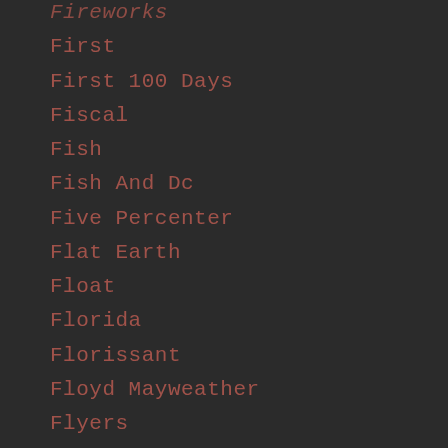Fireworks
First
First 100 Days
Fiscal
Fish
Fish And Dc
Five Percenter
Flat Earth
Float
Florida
Florissant
Floyd Mayweather
Flyers
Flyweight
Fm
Fnny
Foley
Food
Food Issues
Food Service Industry
Football